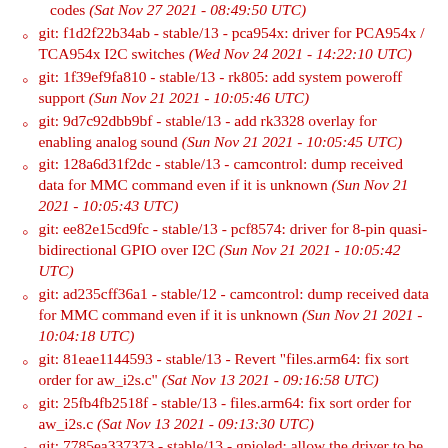codes (Sat Nov 27 2021 - 08:49:50 UTC)
git: f1d2f22b34ab - stable/13 - pca954x: driver for PCA954x / TCA954x I2C switches (Wed Nov 24 2021 - 14:22:10 UTC)
git: 1f39ef9fa810 - stable/13 - rk805: add system poweroff support (Sun Nov 21 2021 - 10:05:46 UTC)
git: 9d7c92dbb9bf - stable/13 - add rk3328 overlay for enabling analog sound (Sun Nov 21 2021 - 10:05:45 UTC)
git: 128a6d31f2dc - stable/13 - camcontrol: dump received data for MMC command even if it is unknown (Sun Nov 21 2021 - 10:05:43 UTC)
git: ee82e15cd9fc - stable/13 - pcf8574: driver for 8-pin quasi-bidirectional GPIO over I2C (Sun Nov 21 2021 - 10:05:42 UTC)
git: ad235cff36a1 - stable/12 - camcontrol: dump received data for MMC command even if it is unknown (Sun Nov 21 2021 - 10:04:18 UTC)
git: 81eae1144593 - stable/13 - Revert "files.arm64: fix sort order for aw_i2s.c" (Sat Nov 13 2021 - 09:16:58 UTC)
git: 25fb4fb2518f - stable/13 - files.arm64: fix sort order for aw_i2s.c (Sat Nov 13 2021 - 09:13:30 UTC)
git: 7785ea337373 - stable/13 - gpioled: allow the driver to be disabled via fdt (Sat Nov 13 2021 -